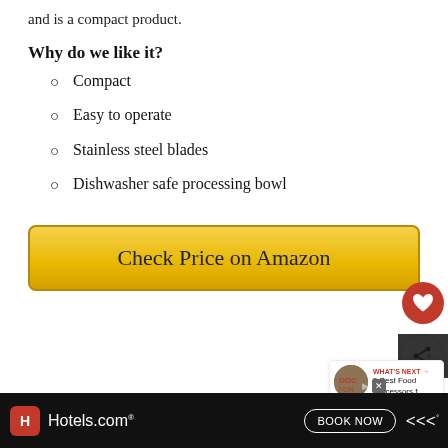and is a compact product.
Why do we like it?
Compact
Easy to operate
Stainless steel blades
Dishwasher safe processing bowl
[Figure (other): Yellow gradient button labeled 'Check Price on Amazon']
[Figure (infographic): What's Next panel with thumbnail and text '5 Best Food Processors f...']
[Figure (infographic): Hotels.com advertisement bar with Book Now button]